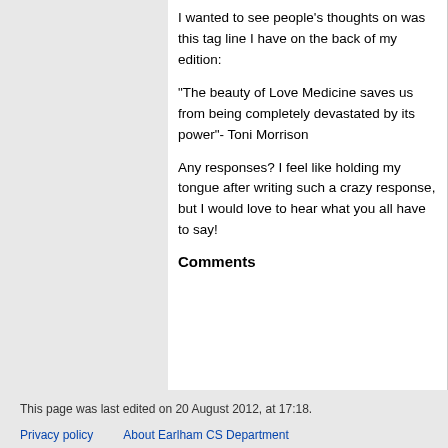I wanted to see people's thoughts on was this tag line I have on the back of my edition:
"The beauty of Love Medicine saves us from being completely devastated by its power"- Toni Morrison
Any responses? I feel like holding my tongue after writing such a crazy response, but I would love to hear what you all have to say!
Comments
This page was last edited on 20 August 2012, at 17:18.
Privacy policy | About Earlham CS Department | Disclaimers